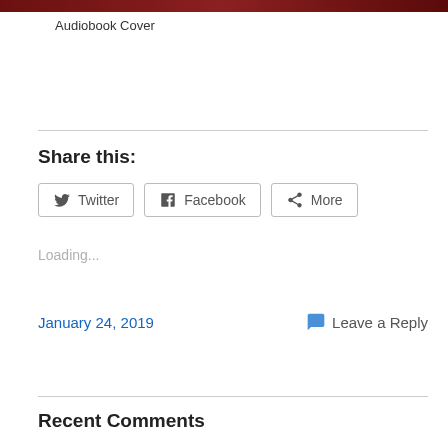[Figure (photo): Audiobook cover image strip at top of page]
Audiobook Cover
Share this:
Twitter  Facebook  More
Loading...
January 24, 2019
Leave a Reply
Recent Comments